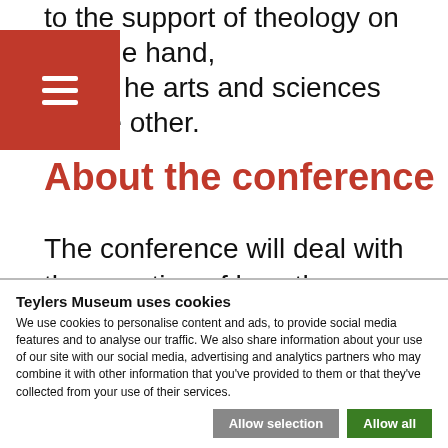to the support of theology on the one hand, the arts and sciences on the other.
About the conference
The conference will deal with the question of how the relationship between science and religion, between the visual cultures of art and science, and between religion, ethics and aesthetics has changed over the course of the 19th and 20th centuries, and how this affected
Teylers Museum uses cookies
We use cookies to personalise content and ads, to provide social media features and to analyse our traffic. We also share information about your use of our site with our social media, advertising and analytics partners who may combine it with other information that you've provided to them or that they've collected from your use of their services.
Allow selection
Allow all